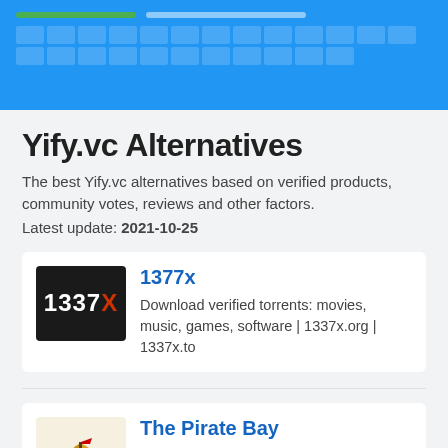Yify.vc Alternatives
The best Yify.vc alternatives based on verified products, community votes, reviews and other factors. Latest update: 2021-10-25
[Figure (logo): 1337x logo - dark background with white text '1337' and red 'X']
1377x
Download verified torrents: movies, music, games, software | 1337x.org | 1337x.to
[Figure (logo): The Pirate Bay logo - golden pirate ship illustration with text 'The Pirate Bay' below]
The Pirate Bay
The galaxys most resilient BitTorrent site. Download music, movies, games, software and much more. The Pirate Bay is the galaxy's most resilient BitTorrent site